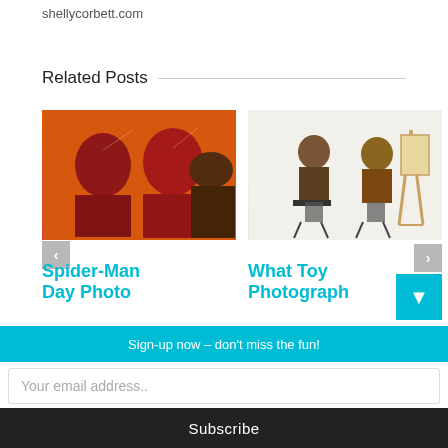shellycorbett.com
Related Posts
[Figure (photo): Three Spider-Man action figures posed together against an orange background, one holding a camera]
[Figure (photo): Two action figures seated on stools in a studio setting with an easel/painting visible in background, white background]
Spider-Man Day Photo
What Toy Photograph
Sign-up now – don't miss the fun!
Your email address..
Subscribe